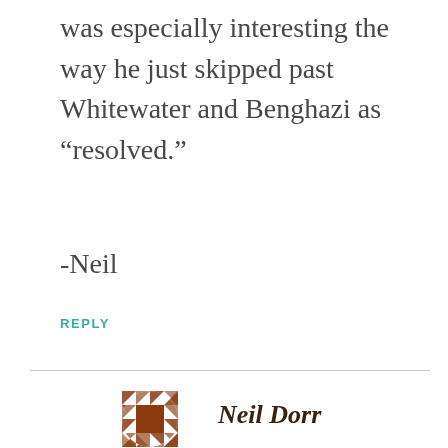was especially interesting the way he just skipped past Whitewater and Benghazi as “resolved.”
-Neil
REPLY
[Figure (logo): Circular decorative logo with brown quilt-like pattern and brown square center]
Neil Dorr